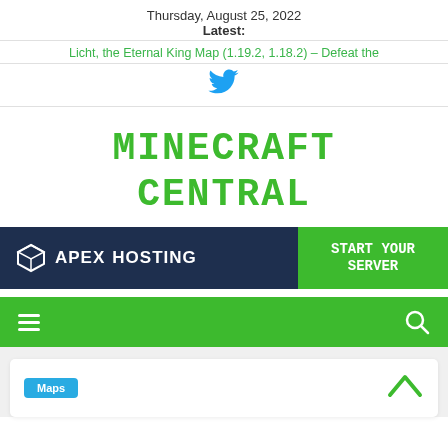Thursday, August 25, 2022
Latest:
Licht, the Eternal King Map (1.19.2, 1.18.2) – Defeat the
[Figure (logo): Twitter bird icon in blue]
[Figure (logo): Minecraft Central logo in green pixel/blocky font]
[Figure (infographic): Apex Hosting advertisement banner: dark blue background with APEX HOSTING logo on left and START YOUR SERVER green button on right]
[Figure (infographic): Green navigation bar with hamburger menu icon on left and search icon on right]
Maps
[Figure (other): Up arrow chevron in green]